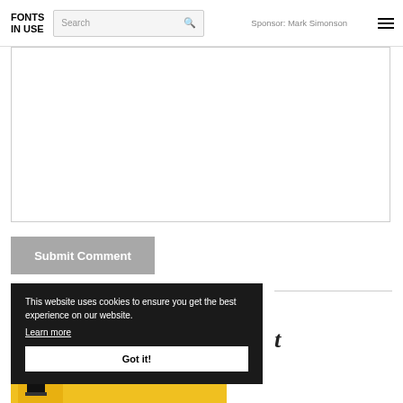FONTS IN USE | Search | Sponsor: Mark Simonson | Menu
[Figure (screenshot): Large empty white textarea input box for comment submission]
Submit Comment
This website uses cookies to ensure you get the best experience on our website. Learn more
Got it!
t
[Figure (photo): Yellow-background image with French text GRILLADES ET DÉGUSTATION visible at bottom of page]